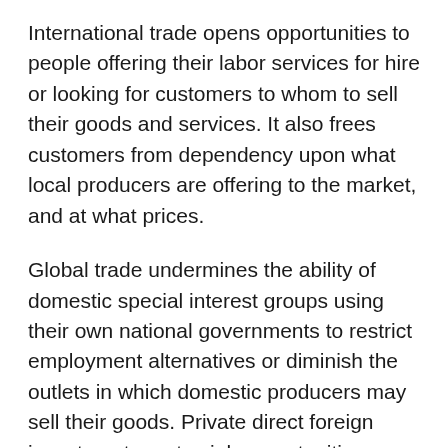International trade opens opportunities to people offering their labor services for hire or looking for customers to whom to sell their goods and services. It also frees customers from dependency upon what local producers are offering to the market, and at what prices.
Global trade undermines the ability of domestic special interest groups using their own national governments to restrict employment alternatives or diminish the outlets in which domestic producers may sell their goods. Private direct foreign investment creates job opportunities outside of the limited options of the domestic employers. It widens the labor market by increasing the number of businesses competing for the useful workers available among that country's population.
The foreign capital investment and the resulting increased number of prospective employers puts upward pressure on